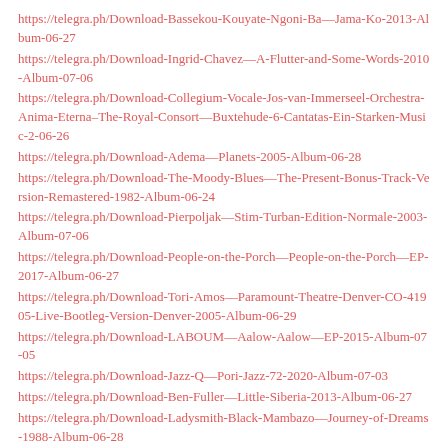https://telegra.ph/Download-Bassekou-Kouyate-Ngoni-Ba—Jama-Ko-2013-Album-06-27
https://telegra.ph/Download-Ingrid-Chavez—A-Flutter-and-Some-Words-2010-Album-07-06
https://telegra.ph/Download-Collegium-Vocale-Jos-van-Immerseel-Orchestra-Anima-Eterna–The-Royal-Consort—Buxtehude-6-Cantatas-Ein-Starken-Music-2-06-26
https://telegra.ph/Download-Adema—Planets-2005-Album-06-28
https://telegra.ph/Download-The-Moody-Blues—The-Present-Bonus-Track-Version-Remastered-1982-Album-06-24
https://telegra.ph/Download-Pierpoljak—Stim-Turban-Edition-Normale-2003-Album-07-06
https://telegra.ph/Download-People-on-the-Porch—People-on-the-Porch—EP-2017-Album-06-27
https://telegra.ph/Download-Tori-Amos—Paramount-Theatre-Denver-CO-41905-Live-Bootleg-Version-Denver-2005-Album-06-29
https://telegra.ph/Download-LABOUM—Aalow-Aalow—EP-2015-Album-07-05
https://telegra.ph/Download-Jazz-Q—Pori-Jazz-72-2020-Album-07-03
https://telegra.ph/Download-Ben-Fuller—Little-Siberia-2013-Album-06-27
https://telegra.ph/Download-Ladysmith-Black-Mambazo—Journey-of-Dreams-1988-Album-06-28